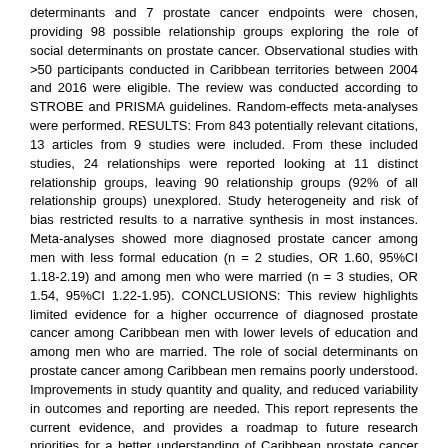determinants and 7 prostate cancer endpoints were chosen, providing 98 possible relationship groups exploring the role of social determinants on prostate cancer. Observational studies with >50 participants conducted in Caribbean territories between 2004 and 2016 were eligible. The review was conducted according to STROBE and PRISMA guidelines. Random-effects meta-analyses were performed. RESULTS: From 843 potentially relevant citations, 13 articles from 9 studies were included. From these included studies, 24 relationships were reported looking at 11 distinct relationship groups, leaving 90 relationship groups (92% of all relationship groups) unexplored. Study heterogeneity and risk of bias restricted results to a narrative synthesis in most instances. Meta-analyses showed more diagnosed prostate cancer among men with less formal education (n = 2 studies, OR 1.60, 95%CI 1.18-2.19) and among men who were married (n = 3 studies, OR 1.54, 95%CI 1.22-1.95). CONCLUSIONS: This review highlights limited evidence for a higher occurrence of diagnosed prostate cancer among Caribbean men with lower levels of education and among men who are married. The role of social determinants on prostate cancer among Caribbean men remains poorly understood. Improvements in study quantity and quality, and reduced variability in outcomes and reporting are needed. This report represents the current evidence, and provides a roadmap to future research priorities for a better understanding of Caribbean prostate cancer inequalities.
Sponsorship
This study was fully supported by grant number U24MD006959 from the National Institute on Minority Health and Health Disparities.